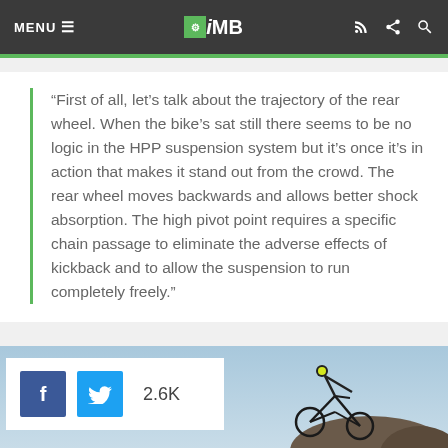MENU ≡  iMB  (navigation bar with RSS, share, search icons)
“First of all, let’s talk about the trajectory of the rear wheel. When the bike’s sat still there seems to be no logic in the HPP suspension system but it’s once it’s in action that makes it stand out from the crowd. The rear wheel moves backwards and allows better shock absorption. The high pivot point requires a specific chain passage to eliminate the adverse effects of kickback and to allow the suspension to run completely freely.”
[Figure (photo): Mountain biker riding aggressively on rocky terrain against a blue sky, with a social share bar showing Facebook and Twitter buttons and a count of 2.6K]